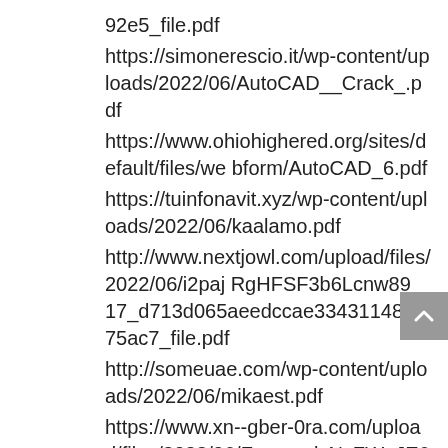92e5_file.pdf
https://simonerescio.it/wp-content/uploads/2022/06/AutoCAD__Crack_.pdf
https://www.ohiohighered.org/sites/default/files/webform/AutoCAD_6.pdf
https://tuinfonavit.xyz/wp-content/uploads/2022/06/kaalamo.pdf
http://www.nextjowl.com/upload/files/2022/06/i2pajRgHFSF3b6Lcnw89_17_d713d065aeedccae334311487fc75ac7_file.pdf
http://someuae.com/wp-content/uploads/2022/06/mikaest.pdf
https://www.xn--gber-0ra.com/upload/files/2022/06/FpnmqqlzNzZWnJE6kSfl_17_246b5b947e8fef346df3d18157a09d37_file.pdf
https://polegarage.de/wp-content/uploads/2022/06/astade.pdf
https://ecoganesh.com/wp-content/uploads/2022/06/AutoCAD-9.pdf